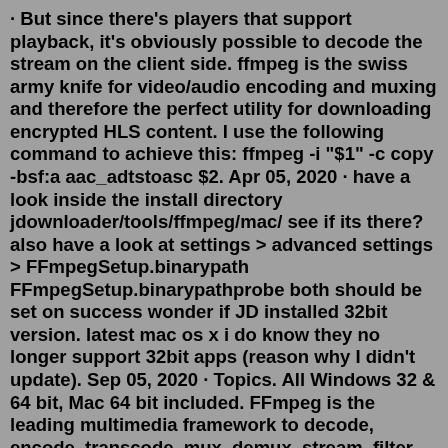· But since there's players that support playback, it's obviously possible to decode the stream on the client side. ffmpeg is the swiss army knife for video/audio encoding and muxing and therefore the perfect utility for downloading encrypted HLS content. I use the following command to achieve this: ffmpeg -i "$1" -c copy -bsf:a aac_adtstoasc $2. Apr 05, 2020 · have a look inside the install directory jdownloader/tools/ffmpeg/mac/ see if its there? also have a look at settings > advanced settings > FFmpegSetup.binarypath FFmpegSetup.binarypathprobe both should be set on success wonder if JD installed 32bit version. latest mac os x i do know they no longer support 32bit apps (reason why I didn't update). Sep 05, 2020 · Topics. All Windows 32 & 64 bit, Mac 64 bit included. FFmpeg is the leading multimedia framework to decode, encode, transcode, mux, demux, stream, filter and play. All builds require at least Windows 7 or Mac OS X 10.10. Release builds are published